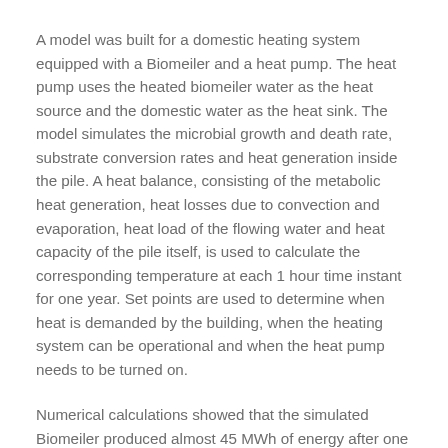A model was built for a domestic heating system equipped with a Biomeiler and a heat pump. The heat pump uses the heated biomeiler water as the heat source and the domestic water as the heat sink. The model simulates the microbial growth and death rate, substrate conversion rates and heat generation inside the pile. A heat balance, consisting of the metabolic heat generation, heat losses due to convection and evaporation, heat load of the flowing water and heat capacity of the pile itself, is used to calculate the corresponding temperature at each 1 hour time instant for one year. Set points are used to determine when heat is demanded by the building, when the heating system can be operational and when the heat pump needs to be turned on.
Numerical calculations showed that the simulated Biomeiler produced almost 45 MWh of energy after one